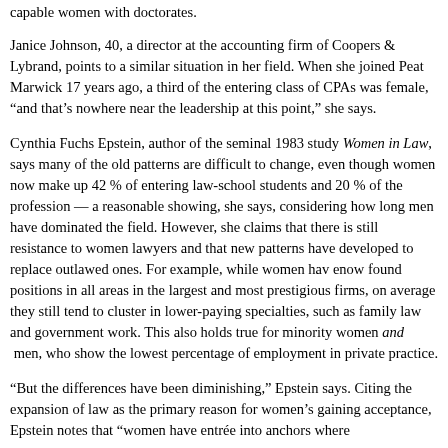capable women with doctorates.
Janice Johnson, 40, a director at the accounting firm of Coopers & Lybrand, points to a similar situation in her field. When she joined Peat Marwick 17 years ago, a third of the entering class of CPAs was female, “and that’s nowhere near the leadership at this point,” she says.
Cynthia Fuchs Epstein, author of the seminal 1983 study Women in Law, says many of the old patterns are difficult to change, even though women now make up 42 % of entering law-school students and 20 % of the profession — a reasonable showing, she says, considering how long men have dominated the field. However, she claims that there is still resistance to women lawyers and that new patterns have developed to replace outlawed ones. For example, while women hav enow found positions in all areas in the largest and most prestigious firms, on average they still tend to cluster in lower-paying specialties, such as family law and government work. This also holds true for minority women and men, who show the lowest percentage of employment in private practice.
“But the differences have been diminishing,” Epstein says. Citing the expansion of law as the primary reason for women’s gaining acceptance, Epstein notes that “women have entrée into anchors where